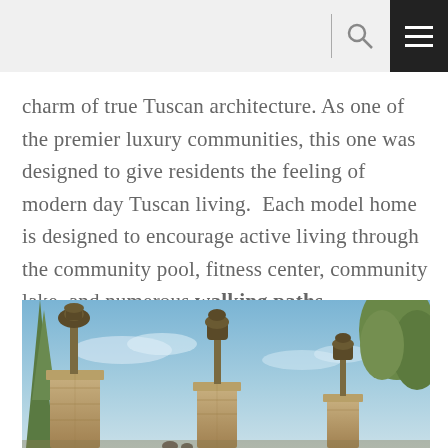[navigation bar with search and menu icons]
charm of true Tuscan architecture. As one of the premier luxury communities, this one was designed to give residents the feeling of modern day Tuscan living.  Each model home is designed to encourage active living through the community pool, fitness center, community lake, and numerous walking paths.
[Figure (photo): Outdoor photo showing ornate lamp posts on stone pillars against a blue sky with trees on either side, entrance to a luxury community]